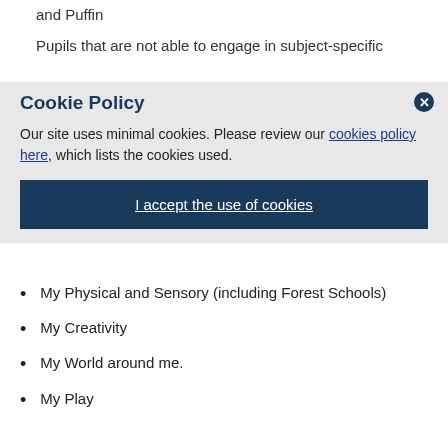and Puffin
Pupils that are not able to engage in subject-specific
Cookie Policy
Our site uses minimal cookies. Please review our cookies policy here, which lists the cookies used.
I accept the use of cookies
My Physical and Sensory (including Forest Schools)
My Creativity
My World around me.
My Play